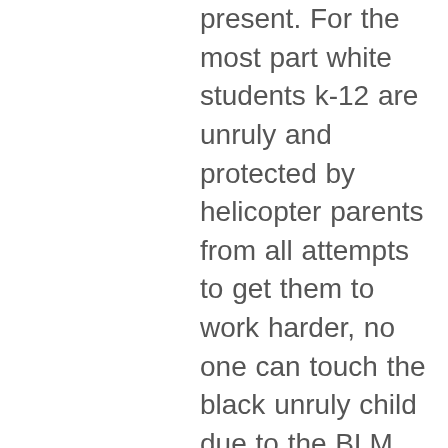present. For the most part white students k-12 are unruly and protected by helicopter parents from all attempts to get them to work harder, no one can touch the black unruly child due to the BLM racist labels, the schools are encouraging medication mostly for young boys (who they deem unruly) and parents are listening, and the asian child sits there and works hard from the minute they sit in their seats to the minute the dismissal bell rings.after school the asian community bring their children to TUTORS to